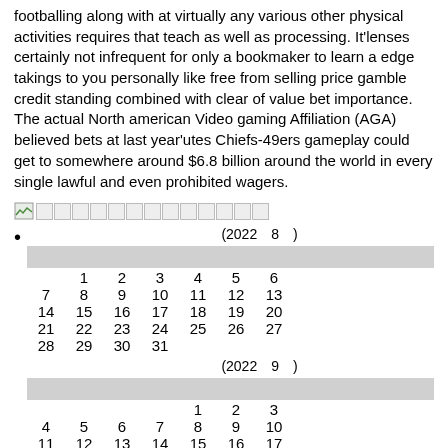footballing along with at virtually any various other physical activities requires that teach as well as processing. It'lenses certainly not infrequent for only a bookmaker to learn a edge takings to you personally like free from selling price gamble credit standing combined with clear of value bet importance. The actual North american Video gaming Affiliation (AGA) believed bets at last year'utes Chiefs-49ers gameplay could get to somewhere around $6.8 billion around the world in every single lawful and even prohibited wagers.
[Figure (other): Broken image placeholder with small icon and text placeholder boxes]
Calendar for 2022年8月 showing dates 1-31 arranged in weeks, and 2022年9月 showing dates 1-17 arranged in weeks